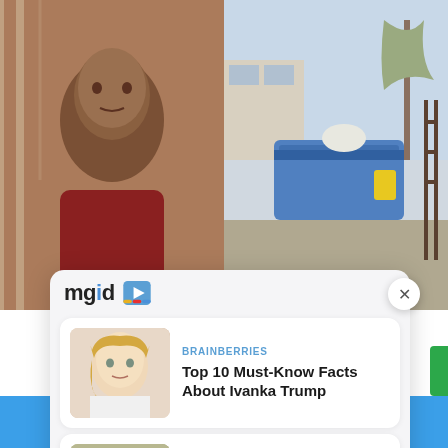[Figure (screenshot): Screenshot of a webpage showing a mugshot photo on left and a dumpster/outdoor scene on right, with an mgid ad widget overlay showing two sponsored article cards: 'Top 10 Must-Know Facts About Ivanka Trump' and '8 Giant Prehistoric Beasts And How They Lived', both from BRAINBERRIES. A Facebook and Twitter share bar is at the bottom.]
BRAINBERRIES
Top 10 Must-Know Facts About Ivanka Trump
BRAINBERRIES
8 Giant Prehistoric Beasts And How They Lived